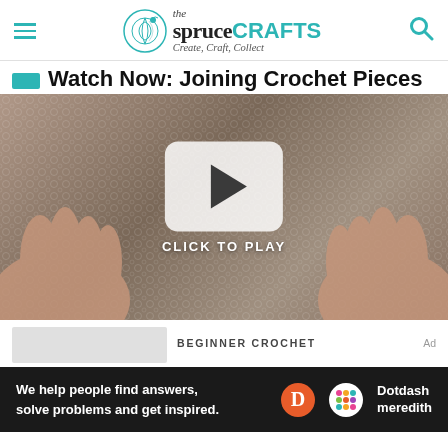the spruceCRAFTS — Create, Craft, Collect
Watch Now: Joining Crochet Pieces
[Figure (screenshot): Video thumbnail showing hands joining crochet pieces with a play button overlay and 'CLICK TO PLAY' text]
BEGINNER CROCHET
[Figure (infographic): Dotdash Meredith advertisement banner: 'We help people find answers, solve problems and get inspired.']